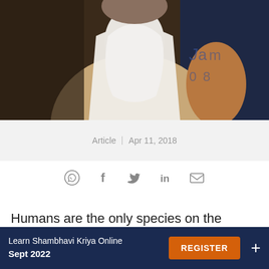[Figure (photo): Close-up photo of a bearded spiritual figure wearing white cloth, with decorative background on the right side]
Article | Apr 11, 2018
[Figure (infographic): Social sharing icons row: WhatsApp, Facebook, Twitter, LinkedIn, Email]
Humans are the only species on the planet that are referred to as Being. There is no such thing as a tiger-
Learn Shambhavi Kriya Online Sept 2022  REGISTER  +